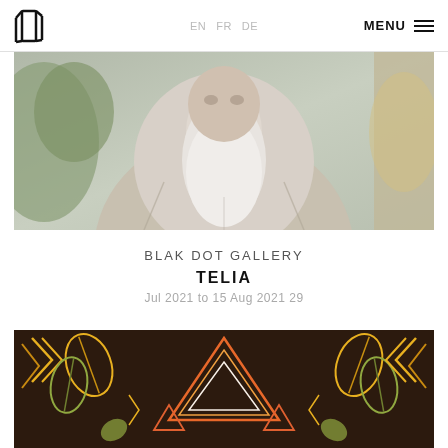BLAK DOT GALLERY | EN FR DE | MENU
[Figure (photo): Close-up portrait of an elderly man with a long white beard, wearing a light grey linen robe, with a blurred green background.]
BLAK DOT GALLERY
TELIA
Jul 2021 to 15 Aug 2021 29
[Figure (photo): Close-up of a colourful fabric or artwork with geometric African-style leaf and arrow patterns in yellow, orange, green, white, and brown on a dark brown background.]